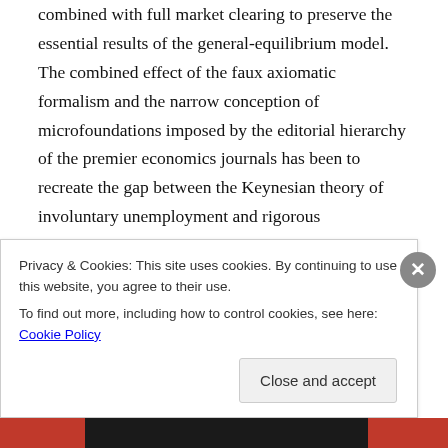combined with full market clearing to preserve the essential results of the general-equilibrium model. The combined effect of the faux axiomatic formalism and the narrow conception of microfoundations imposed by the editorial hierarchy of the premier economics journals has been to recreate the gap between the Keynesian theory of involuntary unemployment and rigorous microeconomic reasoning that Alchian, some forty years ago, thought he had found a way to bridge.
Update (1:16PM EST):  A commenter points out that the first sentence of my concluding paragraph was left...
Privacy & Cookies: This site uses cookies. By continuing to use this website, you agree to their use. To find out more, including how to control cookies, see here: Cookie Policy